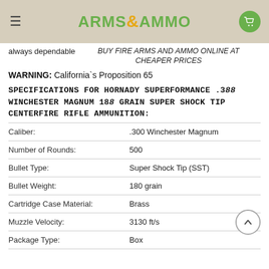ARMS & AMMO
always dependable BUY FIRE ARMS AND AMMO ONLINE AT CHEAPER PRICES
WARNING: California`s Proposition 65
SPECIFICATIONS FOR HORNADY SUPERFORMANCE .300 WINCHESTER MAGNUM 180 GRAIN SUPER SHOCK TIP CENTERFIRE RIFLE AMMUNITION:
|  |  |
| --- | --- |
| Caliber: | .300 Winchester Magnum |
| Number of Rounds: | 500 |
| Bullet Type: | Super Shock Tip (SST) |
| Bullet Weight: | 180 grain |
| Cartridge Case Material: | Brass |
| Muzzle Velocity: | 3130 ft/s |
| Package Type: | Box |